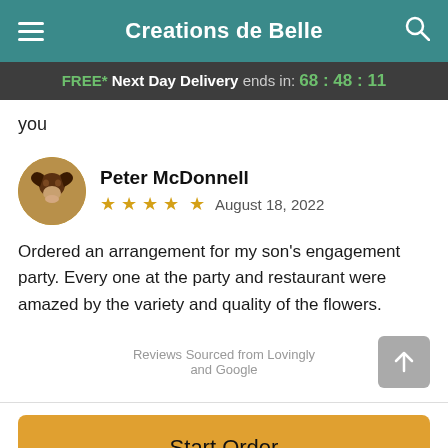Creations de Belle
FREE* Next Day Delivery ends in: 68:48:11
you
Peter McDonnell
★★★★★ August 18, 2022
Ordered an arrangement for my son's engagement party. Every one at the party and restaurant were amazed by the variety and quality of the flowers.
Reviews Sourced from Lovingly and Google